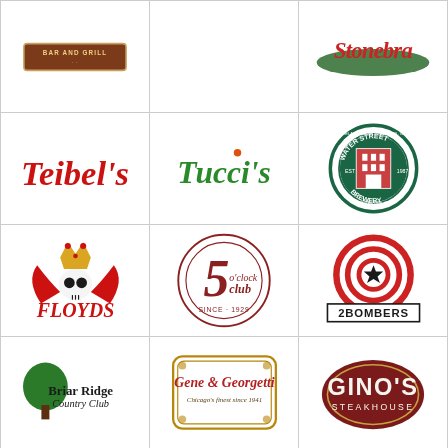[Figure (logo): Bar and Grill logo - red and brown banner style]
[Figure (logo): Empty cell]
[Figure (logo): Stonebru script logo in red/green]
[Figure (logo): Teibel's red cursive script logo]
[Figure (logo): Tucci's green italic script logo]
[Figure (logo): Water Street Brewery circular badge logo]
[Figure (logo): Floyd's gothic red text logo with skull and crown]
[Figure (logo): 5 O'Clock Club circular logo, Since 1929]
[Figure (logo): 2 Bombers concentric circles with star logo]
[Figure (logo): Briar Ridge Country Club logo with tree]
[Figure (logo): Gene & Georgetti Chicago's finest since 1941 logo]
[Figure (logo): Gino's Steakhouse oval logo]